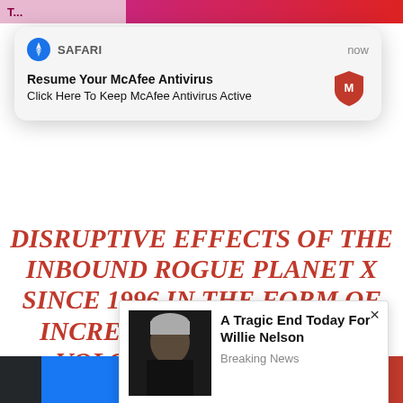[Figure (screenshot): Safari browser notification popup: 'Resume Your McAfee Antivirus - Click Here To Keep McAfee Antivirus Active' with McAfee logo, labeled 'SAFARI now']
DISRUPTIVE EFFECTS OF THE INBOUND ROGUE PLANET X SINCE 1996 IN THE FORM OF INCREASED SEISMIC AND VOLCANIC ACTIVITIES, FREAK WEATHER PATTERNS, AND NATURAL DISASTERS.
I don't know if any of that is true or untrue.
[Figure (screenshot): Ad popup with photo of Willie Nelson, title 'A Tragic End Today For Willie Nelson', subtitle 'Breaking News', with close (×) button]